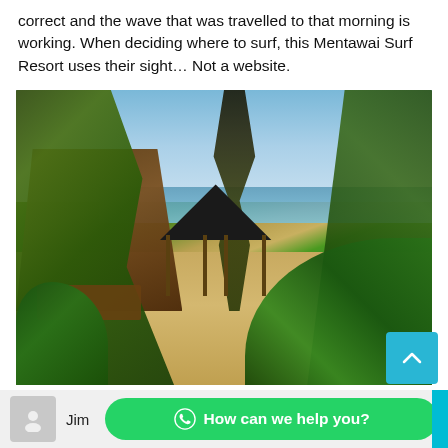correct and the wave that was travelled to that morning is working. When deciding where to surf, this Mentawai Surf Resort uses their sight… Not a website.
[Figure (photo): Tropical resort scene with thatched-roof hut on left, sandy path, gazebo in background near ocean, palm trees, and lush green tropical foliage]
This picture says it all! You can't get any closer to a world-class wave while
Jim
How can we help you?